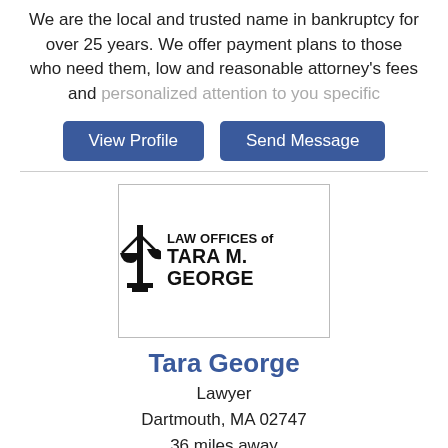We are the local and trusted name in bankruptcy for over 25 years. We offer payment plans to those who need them, low and reasonable attorney's fees and personalized attention to you specific
View Profile | Send Message
[Figure (logo): Law Offices of Tara M. George logo with scales of justice icon]
Tara George
Lawyer
Dartmouth, MA 02747
36 miles away
Law Offices of Tara M. George, PC